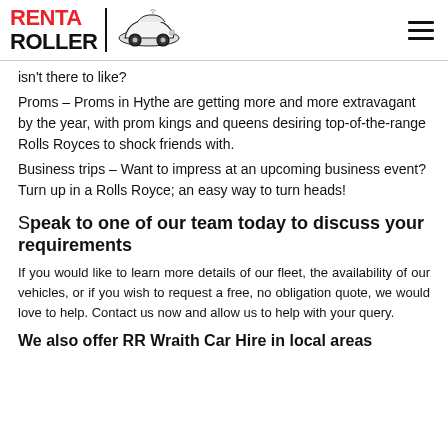RENT A ROLLER
isn't there to like?
Proms – Proms in Hythe are getting more and more extravagant by the year, with prom kings and queens desiring top-of-the-range Rolls Royces to shock friends with.
Business trips – Want to impress at an upcoming business event? Turn up in a Rolls Royce; an easy way to turn heads!
Speak to one of our team today to discuss your requirements
If you would like to learn more details of our fleet, the availability of our vehicles, or if you wish to request a free, no obligation quote, we would love to help. Contact us now and allow us to help with your query.
We also offer RR Wraith Car Hire in local areas